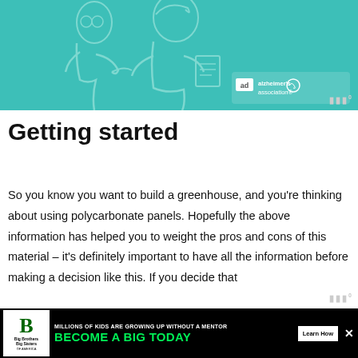[Figure (illustration): Teal-background advertisement banner showing two illustrated figures (an older person and a caregiver), with 'alzheimer's association' logo and 'ad' badge in lower right.]
Getting started
So you know you want to build a greenhouse, and you're thinking about using polycarbonate panels. Hopefully the above information has helped you to weight the pros and cons of this material – it's definitely important to have all the information before making a decision like this. If you decide that
[Figure (advertisement): Black banner ad for Big Brothers Big Sisters: 'MILLIONS OF KIDS ARE GROWING UP WITHOUT A MENTOR. BECOME A BIG TODAY' with a Learn How button.]